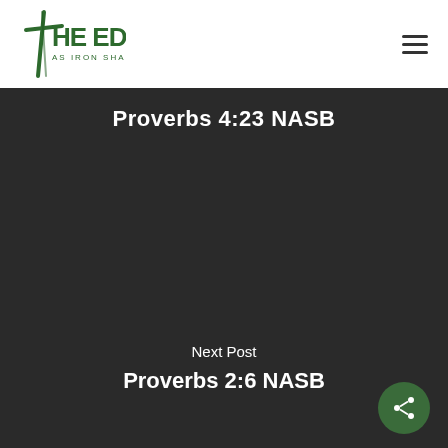[Figure (logo): The Edge logo with a stylized cross and text 'THE EDGE AS IRON SHARPENS IRON' in dark green]
Proverbs 4:23 NASB
Next Post
Proverbs 2:6 NASB